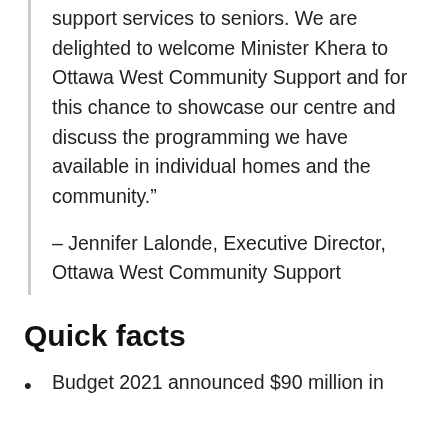support services to seniors. We are delighted to welcome Minister Khera to Ottawa West Community Support and for this chance to showcase our centre and discuss the programming we have available in individual homes and the community.”
– Jennifer Lalonde, Executive Director, Ottawa West Community Support
Quick facts
Budget 2021 announced $90 million in